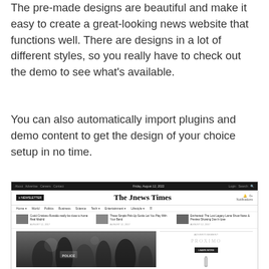The pre-made designs are beautiful and make it easy to create a great-looking news website that functions well. There are designs in a lot of different styles, so you really have to check out the demo to see what's available.
You can also automatically import plugins and demo content to get the design of your choice setup in no time.
[Figure (screenshot): Screenshot of 'The Jnews Times' news website template showing navigation bar, site header with newsletter button and site title, category navigation, article thumbnails row, main large black-and-white photo of police/crowd scene, and sidebar with advertisement section.]